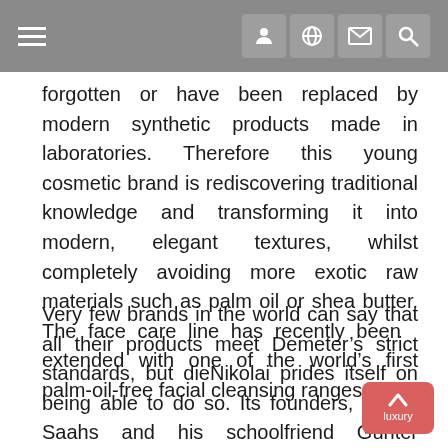Navigation bar with hamburger menu and icons
forgotten or have been replaced by modern synthetic products made in laboratories. Therefore this young cosmetic brand is rediscovering traditional knowledge and transforming it into modern, elegant textures, whilst completely avoiding more exotic raw materials such as palm oil or shea butter. The face care line has recently been  extended with one of the world's first palm-oil-free facial cleansing ranges.
Very few brands in the world can say that all their products meet Demeter's strict standards, but dieNikolai prides itself on being able to do so. Its founders, Martin Saahs and his schoolfriend Günter Stöffelbauer, want to offer cosmetic products with the smallest possible ecological footprint and bring together the two exciting domains of organic products and luxury cosmetics. The brand's face, hand and lip care products